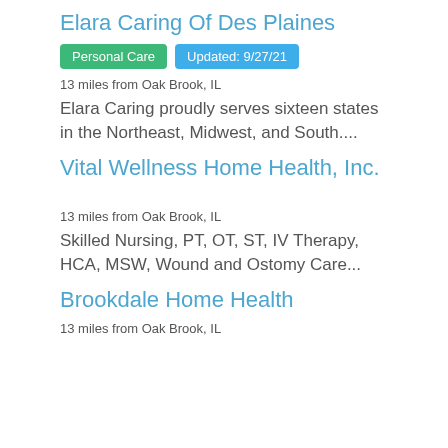Elara Caring Of Des Plaines
Personal Care | Updated: 9/27/21
13 miles from Oak Brook, IL
Elara Caring proudly serves sixteen states in the Northeast, Midwest, and South....
Vital Wellness Home Health, Inc.
13 miles from Oak Brook, IL
Skilled Nursing, PT, OT, ST, IV Therapy, HCA, MSW, Wound and Ostomy Care...
Brookdale Home Health
13 miles from Oak Brook, IL